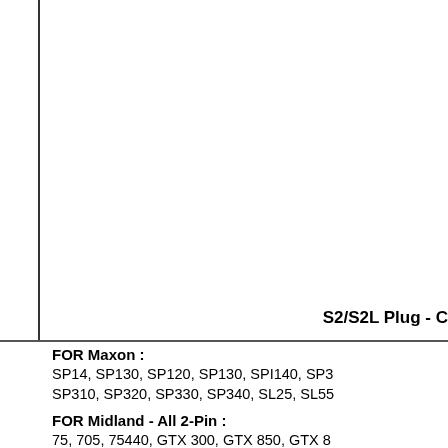S2/S2L Plug - C
FOR Maxon : SP14, SP130, SP120, SP130, SPI140, SP3 SP310, SP320, SP330, SP340, SL25, SL55
FOR Midland - All 2-Pin : 75, 705, 75440, GTX 300, GTX 850, GTX 8